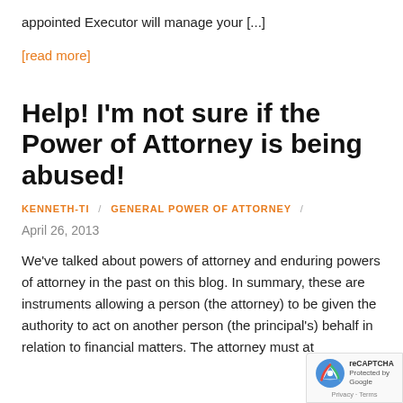appointed Executor will manage your [...]
[read more]
Help! I'm not sure if the Power of Attorney is being abused!
KENNETH-TI / GENERAL POWER OF ATTORNEY /
April 26, 2013
We've talked about powers of attorney and enduring powers of attorney in the past on this blog. In summary, these are instruments allowing a person (the attorney) to be given the authority to act on another person (the principal's) behalf in relation to financial matters. The attorney must at